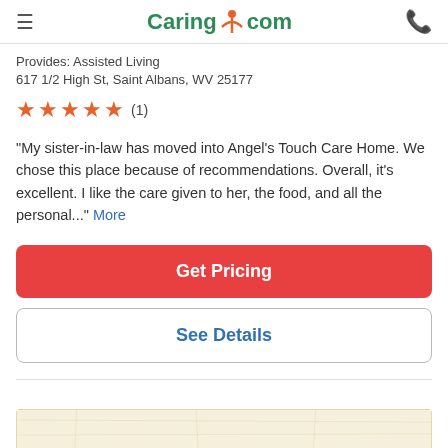Caring.com
Provides: Assisted Living
617 1/2 High St, Saint Albans, WV 25177
★★★★★ (1)
"My sister-in-law has moved into Angel's Touch Care Home. We chose this place because of recommendations. Overall, it's excellent. I like the care given to her, the food, and all the personal..." More
Get Pricing
See Details
[Figure (map): Map preview thumbnail at the bottom of the page]